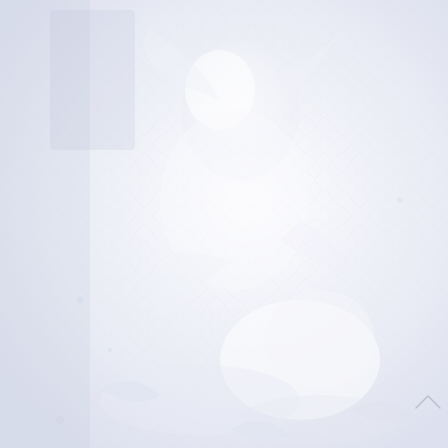[Figure (illustration): A very faint, washed-out watermark-style illustration covering most of the page. The image appears to show white or near-white figures — possibly cherubs or allegorical figures — against a light textured background with a diamond/scale pattern. The overall tones are extremely pale, ranging from white to very light gray and faint blue-gray. A small upward-pointing chevron/arrow icon appears in the lower-right corner.]